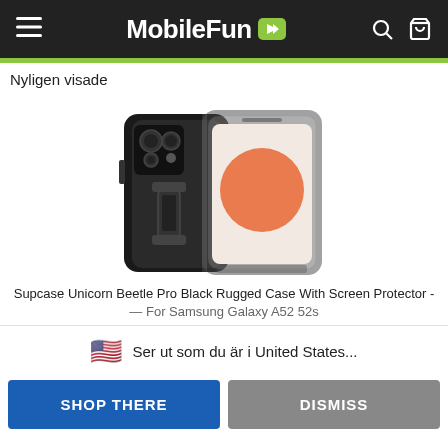MobileFun
Nyligen visade
[Figure (photo): Product photo of Supcase Unicorn Beetle Pro Black Rugged Case with Screen Protector for Samsung Galaxy A52/A52s, showing front and back of the phone case]
Supcase Unicorn Beetle Pro Black Rugged Case With Screen Protector - For Samsung Galaxy A52 52s
🇺🇸  Ser ut som du är i United States...
SHOP THERE
DISMISS